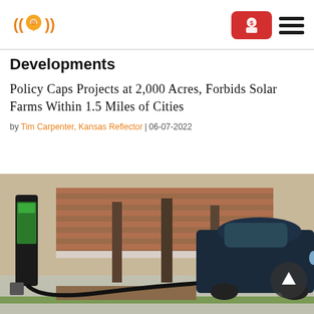Logo: location/radio signal icon | Donate button | Hamburger menu
Developments
Policy Caps Projects at 2,000 Acres, Forbids Solar Farms Within 1.5 Miles of Cities
by Tim Carpenter, Kansas Reflector | 06-07-2022
[Figure (photo): Electric vehicle charging at a green charging station, dark blue sedan plugged in, trees and brick building in background]